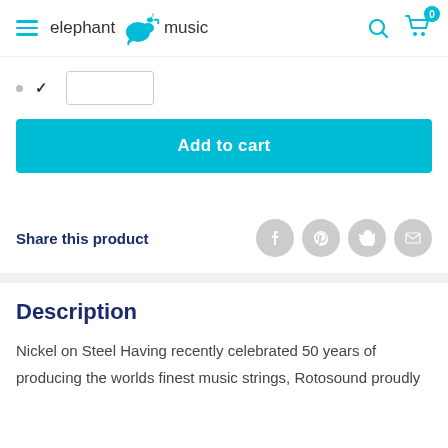elephant music
[Figure (screenshot): Quantity selector input field with small dot and checkmark icons]
Add to cart
Share this product
Description
Nickel on Steel Having recently celebrated 50 years of producing the worlds finest music strings, Rotosound proudly